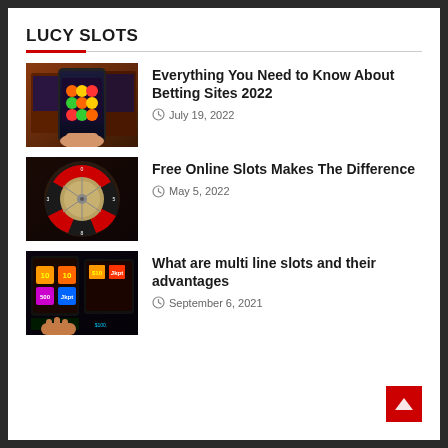LUCY SLOTS
[Figure (photo): Hand holding a smartphone displaying colorful slot machine reels, with physical slot machines in the background]
Everything You Need to Know About Betting Sites 2022
July 19, 2022
[Figure (photo): Close-up of a roulette wheel with red and black numbered slots on a dark background]
Free Online Slots Makes The Difference
May 5, 2022
[Figure (photo): Person playing slot machines in a dark casino with colorful lit slot screens showing $10 symbols and jackpot amounts]
What are multi line slots and their advantages
September 6, 2021